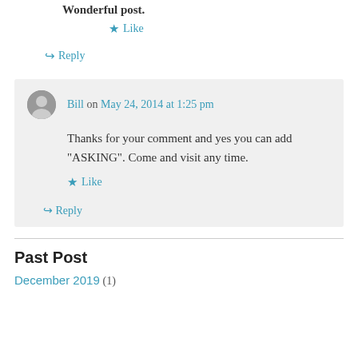Wonderful post.
★ Like
↪ Reply
Bill on May 24, 2014 at 1:25 pm
Thanks for your comment and yes you can add "ASKING". Come and visit any time.
★ Like
↪ Reply
Past Post
December 2019 (1)